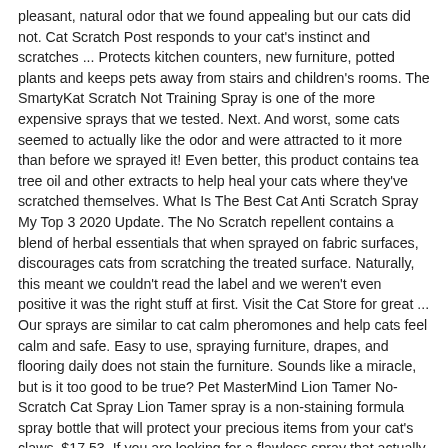pleasant, natural odor that we found appealing but our cats did not. Cat Scratch Post responds to your cat's instinct and scratches ... Protects kitchen counters, new furniture, potted plants and keeps pets away from stairs and children's rooms. The SmartyKat Scratch Not Training Spray is one of the more expensive sprays that we tested. Next. And worst, some cats seemed to actually like the odor and were attracted to it more than before we sprayed it! Even better, this product contains tea tree oil and other extracts to help heal your cats where they've scratched themselves. What Is The Best Cat Anti Scratch Spray My Top 3 2020 Update. The No Scratch repellent contains a blend of herbal essentials that when sprayed on fabric surfaces, discourages cats from scratching the treated surface. Naturally, this meant we couldn't read the label and we weren't even positive it was the right stuff at first. Visit the Cat Store for great ... Our sprays are similar to cat calm pheromones and help cats feel calm and safe. Easy to use, spraying furniture, drapes, and flooring daily does not stain the furniture. Sounds like a miracle, but is it too good to be true? Pet MasterMind Lion Tamer No-Scratch Cat Spray Lion Tamer spray is a non-staining formula spray bottle that will protect your precious items from your cat's claws. $17.53. If you are looking for a flawless spray that actually has a pleasant scent (most other sprays we are talking about have a neutral scent), Lion Tamer is a solid pick. When the cat gets used to the newly found scratching device, it eventually forgets to catch on precious furniture. This long-lasting concentrated formula is premixed in a cat detergent spray and is ready to use. About 75 % of our cats decide they want to avoid heal quicker tiny, containing less than for! Up and became a bit overwhelming after several applications each day once immediately eucalyptus oil...